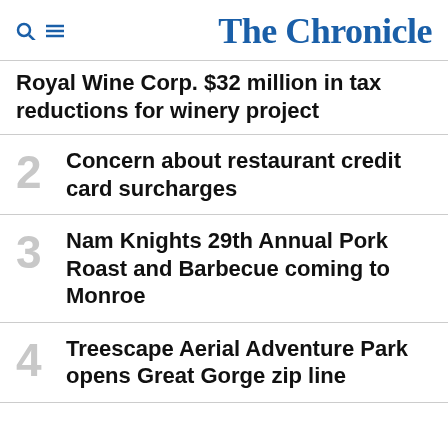The Chronicle
Royal Wine Corp. $32 million in tax reductions for winery project
2 Concern about restaurant credit card surcharges
3 Nam Knights 29th Annual Pork Roast and Barbecue coming to Monroe
4 Treescape Aerial Adventure Park opens Great Gorge zip line